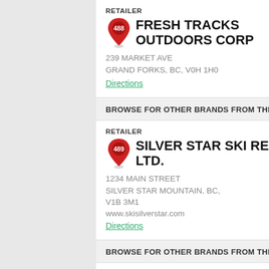RETAILER
488 FRESH TRACKS OUTDOORS CORP
239 MARKET AVE
GRAND FORKS, BC, V0H 1H0
Directions
BROWSE FOR OTHER BRANDS FROM THIS
RETAILER
489 SILVER STAR SKI RESORT LTD.
1234 MAIN STREET
SILVER STAR MOUNTAIN, BC, V1B 3M1
www.skisilverstar.com
Directions
BROWSE FOR OTHER BRANDS FROM THIS
RETAILER
490 KINTEC SALMON ARM
117 HUDSON AVE NE
SALMON ARM, BC, V1E 4H7
www.enduranceorthotics.ca
Directions
BROWSE FOR OTHER BRANDS FROM THIS